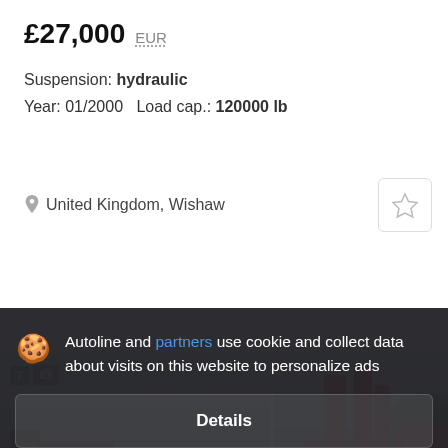£27,000  EUR
Suspension: hydraulic
Year: 01/2000   Load cap.: 120000 lb
United Kingdom, Wishaw
[Figure (photo): Photo of a large vehicle/trailer in outdoor setting, grey cloudy sky, with a number badge '7' and camera icon overlay]
[Figure (photo): Photo of red tall vehicle parts/machinery against trees and sky]
Autoline and partners use cookie and collect data about visits on this website to personalize ads
Details
Accept and close